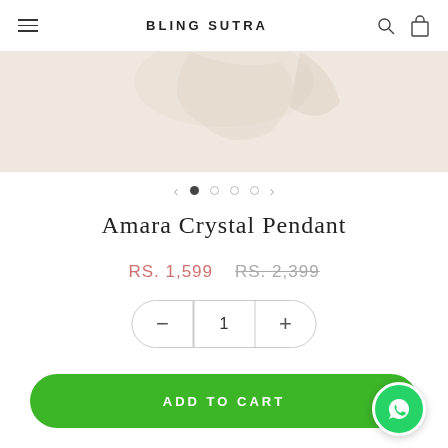BLING SUTRA
[Figure (photo): Product photo area showing a beige/cream background with a subtle draped fabric or pendant shape, cropped at the top.]
< ● ○ ○ ○ >
Amara Crystal Pendant
RS. 1,599   RS. 2,399
− 1 +
ADD TO CART